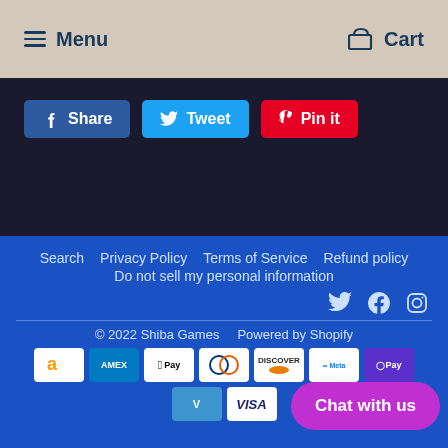Menu  Cart
Share  Tweet  Pin it
Search  Privacy Policy  Terms of Service  Refund policy  Do not sell my personal information  Twitter Facebook Instagram  © 2022 Shiba Games  Powered by Shopify  Amazon Amex Apple Pay Diners Discover Meta Pay  GPay Venmo Visa  Chat with us